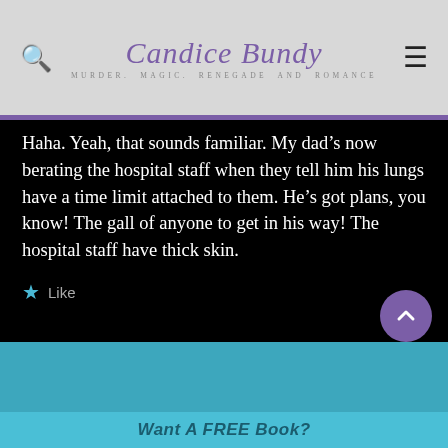Candice Bundy — Murder. Magic. Renegade. And Romance.
Haha. Yeah, that sounds familiar. My dad's now berating the hospital staff when they tell him his lungs have a time limit attached to them. He's got plans, you know! The gall of anyone to get in his way! The hospital staff have thick skin.
Like
Comments are closed.
Want A FREE Book?